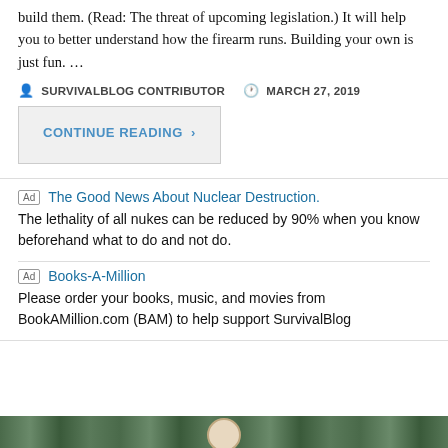build them. (Read: The threat of upcoming legislation.) It will help you to better understand how the firearm runs. Building your own is just fun. …
SURVIVALBLOG CONTRIBUTOR   MARCH 27, 2019
CONTINUE READING ›
Ad  The Good News About Nuclear Destruction.
The lethality of all nukes can be reduced by 90% when you know beforehand what to do and not do.
Ad  Books-A-Million
Please order your books, music, and movies from BookAMillion.com (BAM) to help support SurvivalBlog
[Figure (photo): Bottom strip showing a forested/outdoor scene with a circular portrait element]